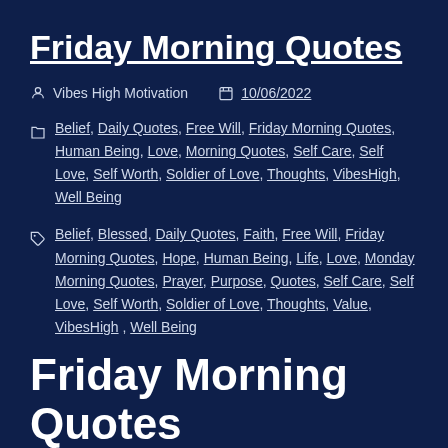Friday Morning Quotes
Vibes High Motivation  10/06/2022
Belief, Daily Quotes, Free Will, Friday Morning Quotes, Human Being, Love, Morning Quotes, Self Care, Self Love, Self Worth, Soldier of Love, Thoughts, VibesHigh, Well Being
Belief, Blessed, Daily Quotes, Faith, Free Will, Friday Morning Quotes, Hope, Human Being, Life, Love, Monday Morning Quotes, Prayer, Purpose, Quotes, Self Care, Self Love, Self Worth, Soldier of Love, Thoughts, Value, VibesHigh, Well Being
Friday Morning Quotes